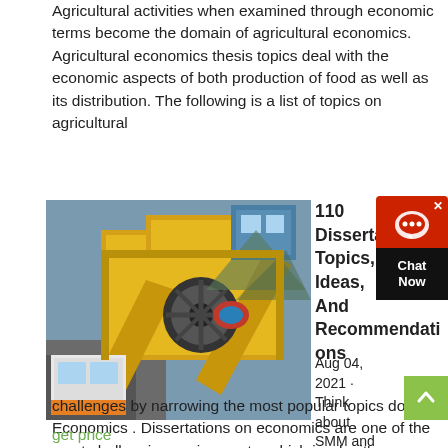Agricultural activities when examined through economic terms become the domain of agricultural economics. Agricultural economics thesis topics deal with the economic aspects of both production of food as well as its distribution. The following is a list of topics on agricultural
get price
[Figure (photo): Large yellow industrial mining/crushing machinery with conveyor belts and a blue equipment cabin in the background]
110 Dissertation Topics, Ideas, And Recommendations
Aug 04, 2021 · Think about SMM and digital marketing challenges by narrowing the most popular topics down. Economics . Dissertations on economics are one of the most challenging assignments, which is why it's essential to choose your topic correctly. Explore some of these dissertation topics below that offer variety and good ideas for your existing draft. 1.
get price